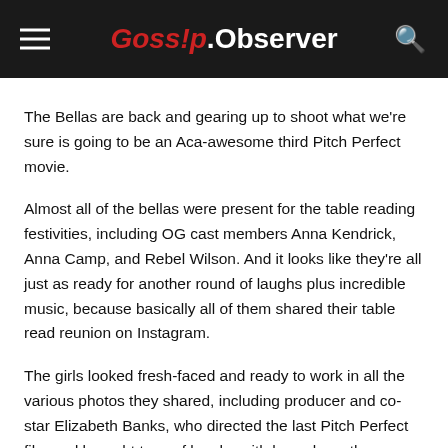Gossip.Observer
The Bellas are back and gearing up to shoot what we're sure is going to be an Aca-awesome third Pitch Perfect movie.
Almost all of the bellas were present for the table reading festivities, including OG cast members Anna Kendrick, Anna Camp, and Rebel Wilson. And it looks like they're all just as ready for another round of laughs plus incredible music, because basically all of them shared their table read reunion on Instagram.
The girls looked fresh-faced and ready to work in all the various photos they shared, including producer and co-star Elizabeth Banks, who directed the last Pitch Perfect film and brought tons of laughs with her role as the hilarious commentator Gail in the first two films.